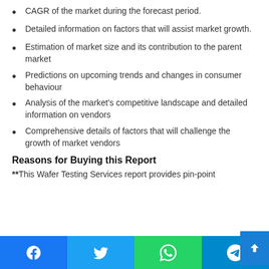CAGR of the market during the forecast period.
Detailed information on factors that will assist market growth.
Estimation of market size and its contribution to the parent market
Predictions on upcoming trends and changes in consumer behaviour
Analysis of the market's competitive landscape and detailed information on vendors
Comprehensive details of factors that will challenge the growth of market vendors
Reasons for Buying this Report
**This Wafer Testing Services report provides pin-point